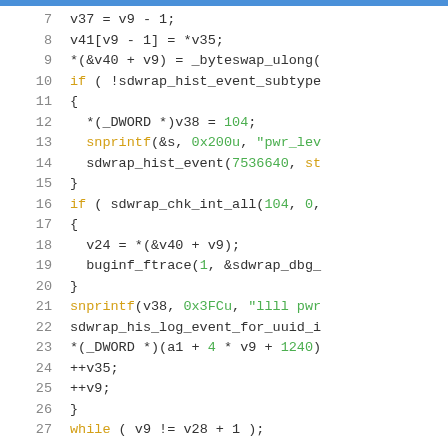[Figure (screenshot): Disassembled C pseudocode snippet shown in a code viewer, lines 7-27, with syntax highlighting. Keywords and function names in yellow/orange, string literals and numbers in green, other code in dark/black.]